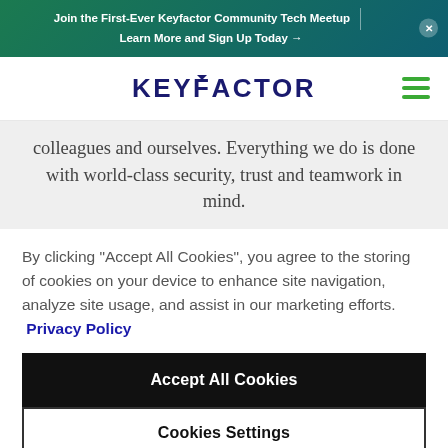Join the First-Ever Keyfactor Community Tech Meetup | Learn More and Sign Up Today →
[Figure (logo): Keyfactor logo in dark navy blue with hamburger menu icon in green on the right]
colleagues and ourselves. Everything we do is done with world-class security, trust and teamwork in mind.
By clicking "Accept All Cookies", you agree to the storing of cookies on your device to enhance site navigation, analyze site usage, and assist in our marketing efforts.  Privacy Policy
Accept All Cookies
Cookies Settings